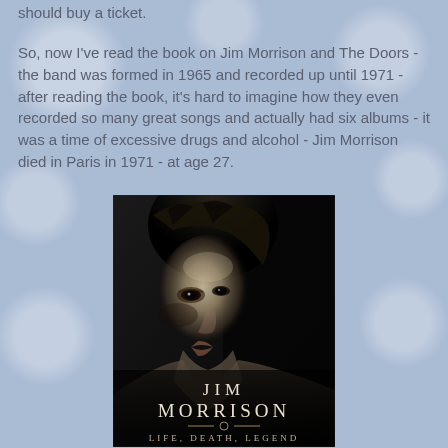should buy a ticket.
So, now I've read the book on Jim Morrison and The Doors - the band was formed in 1965 and recorded up until 1971 - after reading the book, it's hard to imagine how they even recorded so many great songs and actually had six albums - it was a time of excessive drugs and alcohol -  Jim Morrison died in Paris in 1971 - at age 27.
[Figure (photo): Book cover of 'Jim Morrison: Life, Death, Legend' — a black and white close-up portrait photo of Jim Morrison looking upward, with the text 'JIM MORRISON' in large serif letters and 'LIFE, DEATH, LEGEND' below.]